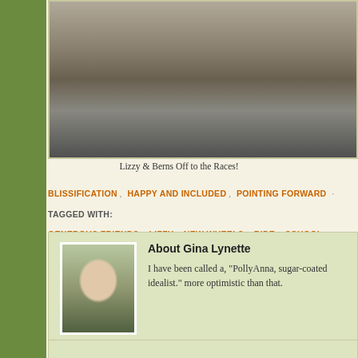[Figure (photo): Outdoor photo strip at top of page showing ground/pavement scene, partially cropped]
Lizzy & Berns Off to the Races!
BLISSIFICATION, HAPPY AND INCLUDED, POINTING FORWARD · TAGGED WITH: GENEROUS FRIENDS, LIZZY, NEW WHEELS, RIDE, SCHOOL CLOTHES, SENDING M…
About Gina Lynette
I have been called a, "PollyAnna, sugar-coated idealist." more optimistic than that.
Speak Your Mind